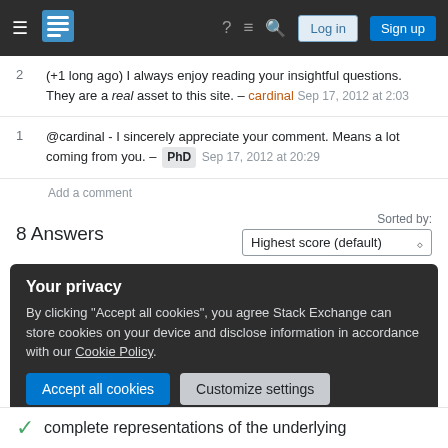Stack Exchange navigation bar with Log in and Sign up buttons
2  (+1 long ago) I always enjoy reading your insightful questions. They are a real asset to this site. – cardinal  Sep 17, 2012 at 2:03
1  @cardinal - I sincerely appreciate your comment. Means a lot coming from you. – PhD  Sep 17, 2012 at 20:29
Add a comment
8 Answers
Sorted by: Highest score (default)
Your privacy — By clicking "Accept all cookies", you agree Stack Exchange can store cookies on your device and disclose information in accordance with our Cookie Policy.
complete representations of the underlying